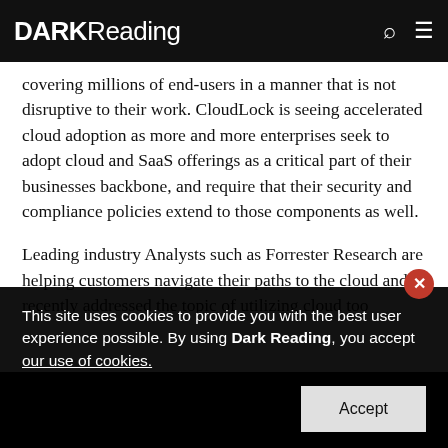DARK Reading
covering millions of end-users in a manner that is not disruptive to their work. CloudLock is seeing accelerated cloud adoption as more and more enterprises seek to adopt cloud and SaaS offerings as a critical part of their businesses backbone, and require that their security and compliance policies extend to those components as well.
Leading industry Analysts such as Forrester Research are helping customers navigate their paths to the cloud and recently addressed the topic of utilizing cloud too
This site uses cookies to provide you with the best user experience possible. By using Dark Reading, you accept our use of cookies.